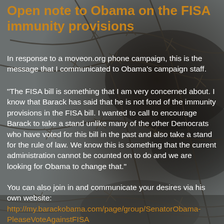Open note to Obama on the FISA immunity provisions
In response to a moveon.org phone campaign, this is the message that I communicated to Obama's campaign staff.
"The FISA bill is something that I am very concerned about. I know that Barack has said that he is not fond of the immunity provisions in the FISA bill. I wanted to call to encourage Barack to take a stand unlike many of the other Democrats who have voted for this bill in the past and also take a stand for the rule of law. We know this is something that the current administration cannot be counted on to do and we are looking for Obama to change that."
You can also join in and communicate your desires via his own website: http://my.barackobama.com/page/group/SenatorObama-PleaseVoteAgainstFISA